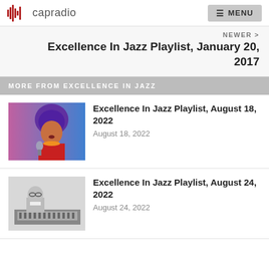capradio | MENU
NEWER > Excellence In Jazz Playlist, January 20, 2017
MORE FROM EXCELLENCE IN JAZZ
[Figure (photo): Woman with purple headwrap and red dress singing into a vintage microphone against a blue-purple background]
Excellence In Jazz Playlist, August 18, 2022
August 18, 2022
[Figure (photo): Black and white photo of a man at a radio mixing console]
Excellence In Jazz Playlist, August 24, 2022
August 24, 2022